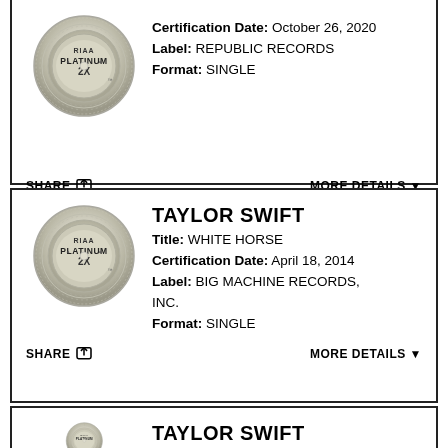[Figure (logo): RIAA Platinum 2X certification badge (silver record disc)]
Certification Date: October 26, 2020
Label: REPUBLIC RECORDS
Format: SINGLE
SHARE | MORE DETAILS
[Figure (logo): RIAA Platinum 2X certification badge (silver record disc)]
TAYLOR SWIFT
Title: WHITE HORSE
Certification Date: April 18, 2014
Label: BIG MACHINE RECORDS, INC.
Format: SINGLE
SHARE | MORE DETAILS
[Figure (logo): RIAA Platinum certification badge (silver record disc)]
TAYLOR SWIFT
Title: SAFE & SOUND
Certification Date: August 26, 2014